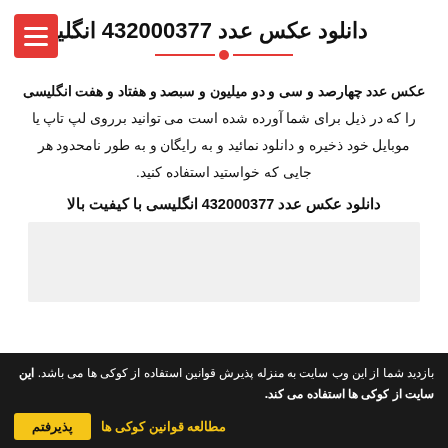دانلود عکس عدد 432000377 انگلیسی
عکس عدد چهارصد و سی و دو میلیون و سبصد و هفتاد و هفت انگلیسی را که در ذیل برای شما آورده شده است می توانید برروی لپ تاپ یا موبایل خود ذخیره و دانلود نمائید و به رایگان و به طور نامحدود هر جایی که خواستید استفاده کنید.
دانلود عکس عدد 432000377 انگلیسی با کیفیت بالا
[Figure (other): Light gray placeholder image area]
بازدید شما از این وب سایت به منزله پذیرش قوانین استفاده از کوکی ها می باشد. این سایت از کوکی ها استفاده می کند.
مطالعه قوانین کوکی ها  پذیرفتم